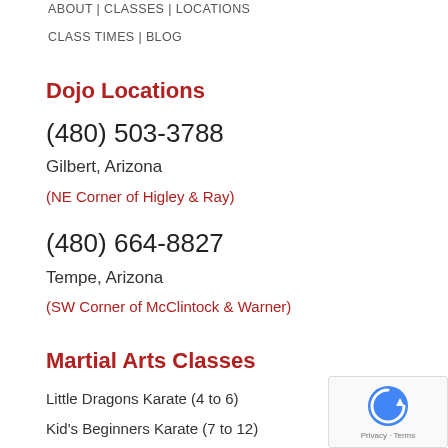ABOUT | CLASSES | LOCATIONS
CLASS TIMES | BLOG
Dojo Locations
(480) 503-3788
Gilbert, Arizona
(NE Corner of Higley & Ray)
(480) 664-8827
Tempe, Arizona
(SW Corner of McClintock & Warner)
Martial Arts Classes
Little Dragons Karate (4 to 6)
Kid's Beginners Karate (7 to 12)